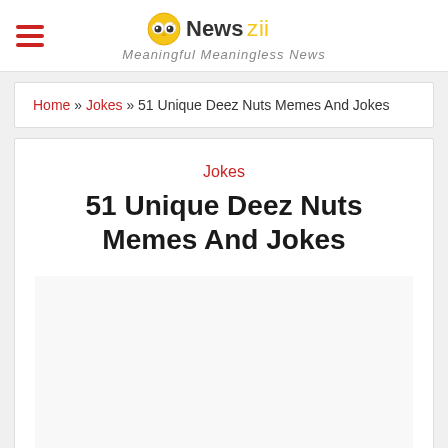Newszii — Meaningful Meaningless News
Home » Jokes » 51 Unique Deez Nuts Memes And Jokes
Jokes
51 Unique Deez Nuts Memes And Jokes